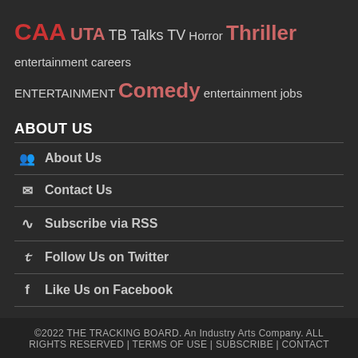CAA UTA TB Talks TV Horror Thriller entertainment careers ENTERTAINMENT Comedy entertainment jobs
ABOUT US
About Us
Contact Us
Subscribe via RSS
Follow Us on Twitter
Like Us on Facebook
©2022 THE TRACKING BOARD. An Industry Arts Company. ALL RIGHTS RESERVED | TERMS OF USE | SUBSCRIBE | CONTACT